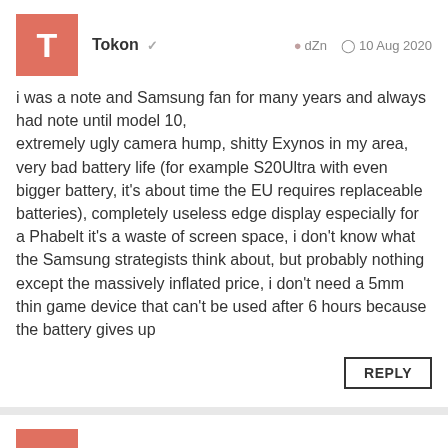Tokon ✓   dZn   10 Aug 2020
i was a note and Samsung fan for many years and always had note until model 10, extremely ugly camera hump, shitty Exynos in my area, very bad battery life (for example S20Ultra with even bigger battery, it's about time the EU requires replaceable batteries), completely useless edge display especially for a Phabelt it's a waste of screen space, i don't know what the Samsung strategists think about, but probably nothing except the massively inflated price, i don't need a 5mm thin game device that can't be used after 6 hours because the battery gives up
REPLY
Skulldow ✓   DkP   10 Aug 2020